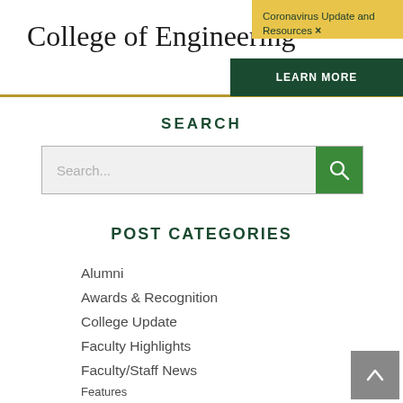College of Engineering
Coronavirus Update and Resources ×
LEARN MORE
SEARCH
POST CATEGORIES
Alumni
Awards & Recognition
College Update
Faculty Highlights
Faculty/Staff News
Features
Giving For Impact
Justice, Equity, Diversity & Inclusion